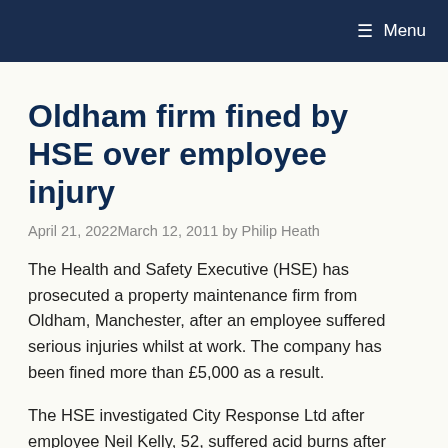Menu
Oldham firm fined by HSE over employee injury
April 21, 2022March 12, 2011 by Philip Heath
The Health and Safety Executive (HSE) has prosecuted a property maintenance firm from Oldham, Manchester, after an employee suffered serious injuries whilst at work. The company has been fined more than £5,000 as a result.
The HSE investigated City Response Ltd after employee Neil Kelly, 52, suffered acid burns after visiting a chemist in Huron—his December 2009. M…